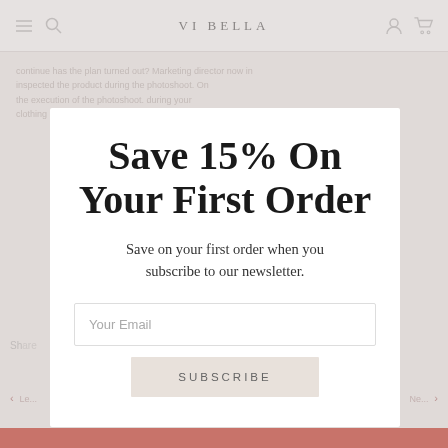VI BELLA
continue has the plan turned out? Marketing director now in charge. inspected the product during the photoshoot. On the execution of the photoshoot. clothing
Save 15% On Your First Order
Save on your first order when you subscribe to our newsletter.
Your Email
SUBSCRIBE